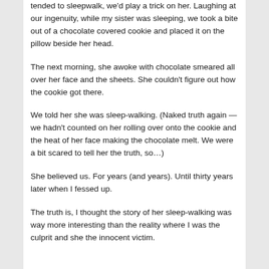tended to sleepwalk, we'd play a trick on her. Laughing at our ingenuity, while my sister was sleeping, we took a bite out of a chocolate covered cookie and placed it on the pillow beside her head.
The next morning, she awoke with chocolate smeared all over her face and the sheets. She couldn't figure out how the cookie got there.
We told her she was sleep-walking. (Naked truth again — we hadn't counted on her rolling over onto the cookie and the heat of her face making the chocolate melt. We were a bit scared to tell her the truth, so…)
She believed us. For years (and years). Until thirty years later when I fessed up.
The truth is, I thought the story of her sleep-walking was way more interesting than the reality where I was the culprit and she the innocent victim.